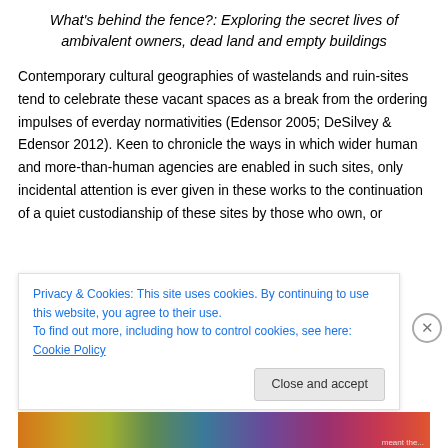What's behind the fence?: Exploring the secret lives of ambivalent owners, dead land and empty buildings
Contemporary cultural geographies of wastelands and ruin-sites tend to celebrate these vacant spaces as a break from the ordering impulses of everday normativities (Edensor 2005; DeSilvey & Edensor 2012). Keen to chronicle the ways in which wider human and more-than-human agencies are enabled in such sites, only incidental attention is ever given in these works to the continuation of a quiet custodianship of these sites by those who own, or...
Privacy & Cookies: This site uses cookies. By continuing to use this website, you agree to their use.
To find out more, including how to control cookies, see here: Cookie Policy